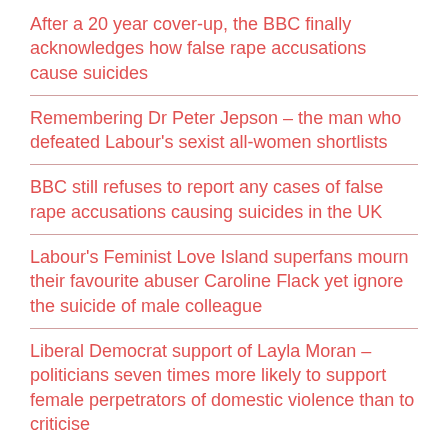After a 20 year cover-up, the BBC finally acknowledges how false rape accusations cause suicides
Remembering Dr Peter Jepson – the man who defeated Labour's sexist all-women shortlists
BBC still refuses to report any cases of false rape accusations causing suicides in the UK
Labour's Feminist Love Island superfans mourn their favourite abuser Caroline Flack yet ignore the suicide of male colleague
Liberal Democrat support of Layla Moran – politicians seven times more likely to support female perpetrators of domestic violence than to criticise